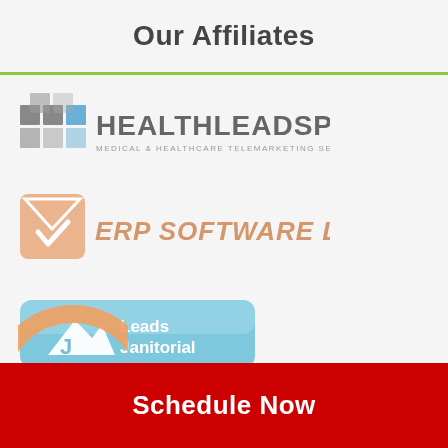Our Affiliates
[Figure (logo): HealthLeadsPlus logo — grid of grey and blue squares icon with text HEALTHLEADSPLUS and subtitle MEDICAL & HEALTHCARE TELEMARKETING SERVICES]
[Figure (logo): ERP Software Leads logo — orange envelope/checkmark icon with orange italic text ERP SOFTWARE LEADS]
[Figure (logo): Leads Janitorial logo — light blue rounded rectangle button with white mountain/J icon and white text Leads Janitorial]
[Figure (logo): Partial orange circular logo at bottom, cut off]
Schedule Now